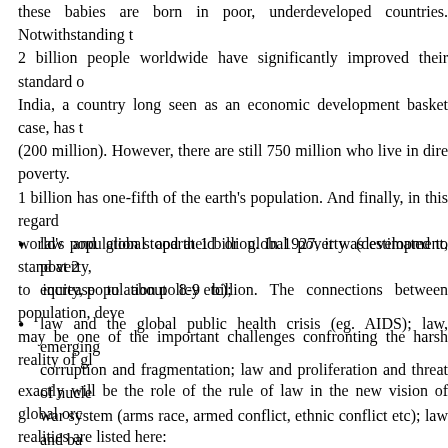these babies are born in poor, underdeveloped countries. Notwithstanding t... 2 billion people worldwide have significantly improved their standard o... India, a country long seen as an economic development basket case, has t... (200 million). However, there are still 750 million who live in dire poverty. 1 billion has one-fifth of the earth's population. And finally, in this regard... world's population stood at 1 billion. In 1927, it was estimated to stand at 2... to increase to about 8-9 billion. The connections between population, deve... may be one of the important challenges confronting the harsh reality of gl... exactly will be the role of the rule of law in the new vision of global orc... realities are listed here:
law and global apartheid or global poverty (development, poverty, equity, population policy etc);
law and the global public health crisis (eg. AIDS); law, emerging corruption and fragmentation; law and proliferation and threat of nucle... war system (arms race, armed conflict, ethnic conflict etc); law and ba... of gross abuse of human rights and human atrocity); law and global c... crisis of the rule of law (failed states, corrupt states, drug-controlled states, authoritarian states, totalitarian states);25
law and the threat of organized transnational criminal behavior,